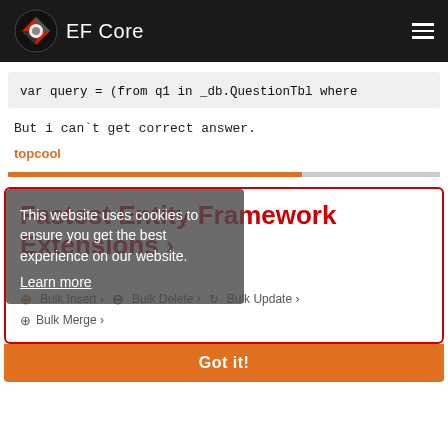EF Core
var query = (from q1 in _db.QuestionTbl where
But i can't get correct answer.
topcool
[Figure (screenshot): EF Core advertisement card showing Fastest Entity Framework Extensions with Bulk Insert, Bulk Delete, Bulk Update, Bulk Merge actions]
This website uses cookies to ensure you get the best experience on our website. Learn more
Got it!